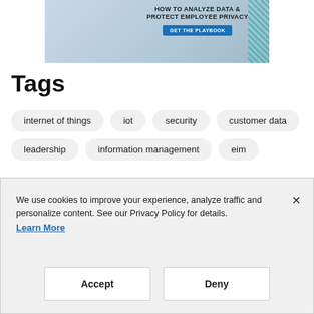[Figure (illustration): Advertisement banner for a playbook about analyzing data and protecting employee privacy, with people in background and a 'GET THE PLAYBOOK' button]
Tags
internet of things
iot
security
customer data
leadership
information management
eim
We use cookies to improve your experience, analyze traffic and personalize content. See our Privacy Policy for details. Learn More
Accept
Deny